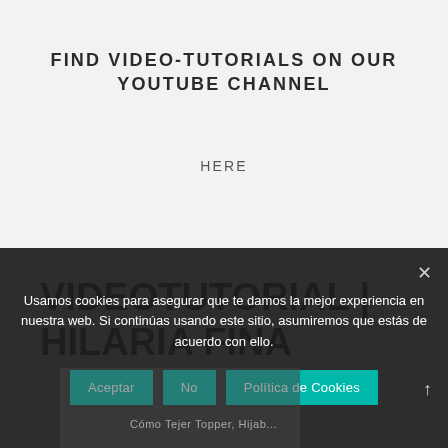FIND VIDEO-TUTORIALS ON OUR YOUTUBE CHANNEL
HERE
VIDEOTUTORIAL | HILARIA FINA
Usamos cookies para asegurar que te damos la mejor experiencia en nuestra web. Si continúas usando este sitio, asumiremos que estás de acuerdo con ello.
Aceptar   No   Política de Cookies